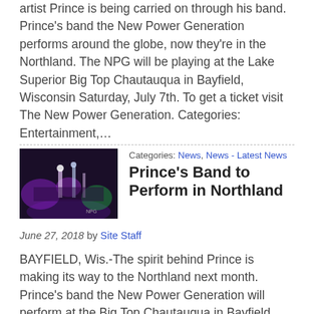artist Prince is being carried on through his band. Prince's band the New Power Generation performs around the globe, now they're in the Northland. The NPG will be playing at the Lake Superior Big Top Chautauqua in Bayfield, Wisconsin Saturday, July 7th. To get a ticket visit The New Power Generation. Categories: Entertainment,…
[Figure (photo): Concert/performance photo with purple and green stage lighting showing performers on stage in a dark venue]
Categories: News, News - Latest News
Prince's Band to Perform in Northland
June 27, 2018 by Site Staff
BAYFIELD, Wis.-The spirit behind Prince is making its way to the Northland next month. Prince's band the New Power Generation will perform at the Big Top Chautauqua in Bayfield July 7th for a very special show. Since Prince's death back in 2016, the group grieved of